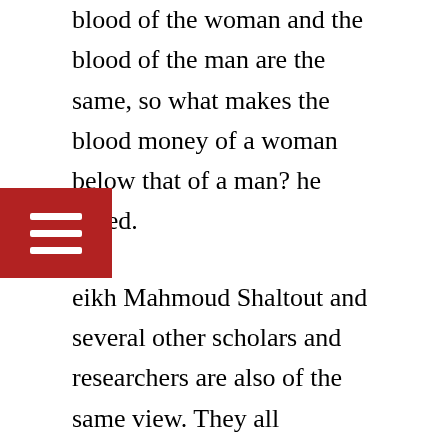blood of the woman and the blood of the man are the same, so what makes the blood money of a woman below that of a man? he asked.
Sheikh Mahmoud Shaltout and several other scholars and researchers are also of the same view. They all emphasized that there is no reference to any halving of the blood money as the Qur'anic verse made the blood money absolute and not specific to man or woman, and the word blood money in the Qur'anic verse is not restricted to any specific gender of men or women. There is also no authentic Hadith that indicates the halving of the blood money of a woman.
The Shoura members pointed out that a number